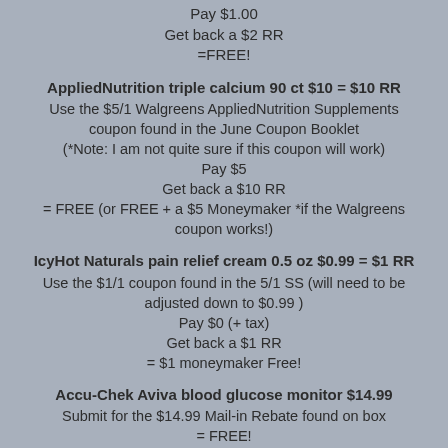Pay $1.00
Get back a $2 RR
=FREE!
AppliedNutrition triple calcium 90 ct $10 = $10 RR
Use the $5/1 Walgreens AppliedNutrition Supplements coupon found in the June Coupon Booklet
(*Note: I am not quite sure if this coupon will work)
Pay $5
Get back a $10 RR
= FREE (or FREE + a $5 Moneymaker *if the Walgreens coupon works!)
IcyHot Naturals pain relief cream 0.5 oz $0.99 = $1 RR
Use the $1/1 coupon found in the 5/1 SS (will need to be adjusted down to $0.99 )
Pay $0 (+ tax)
Get back a $1 RR
= $1 moneymaker Free!
Accu-Chek Aviva blood glucose monitor $14.99
Submit for the $14.99 Mail-in Rebate found on box
= FREE!